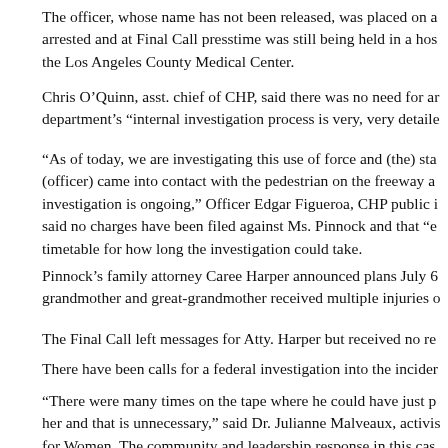The officer, whose name has not been released, was placed on a arrested and at Final Call presstime was still being held in a hos the Los Angeles County Medical Center.
Chris O’Quinn, asst. chief of CHP, said there was no need for ar department’s “internal investigation process is very, very detaile
“As of today, we are investigating this use of force and (the) sta (officer) came into contact with the pedestrian on the freeway a investigation is ongoing,” Officer Edgar Figueroa, CHP public i said no charges have been filed against Ms. Pinnock and that “e timetable for how long the investigation could take.
Pinnock’s family attorney Caree Harper announced plans July 6 grandmother and great-grandmother received multiple injuries o
The Final Call left messages for Atty. Harper but received no re
There have been calls for a federal investigation into the incider
“There were many times on the tape where he could have just p her and that is unnecessary,” said Dr. Julianne Malveaux, activis for Women. The community and leadership response in this cas Martin, the unarmed Florida teen shot and killed by neighborho she added. That case, in which Mr. Zimmerman was acquitted o